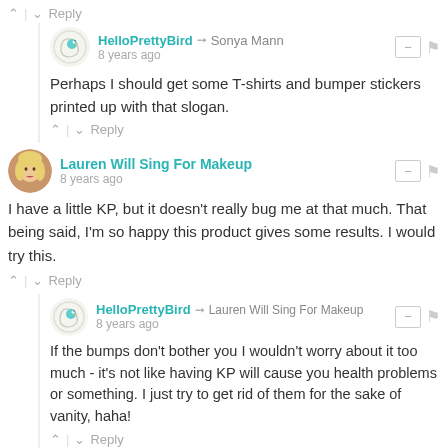^ | v  Reply
HelloPrettyBird → Sonya Mann  8 years ago
Perhaps I should get some T-shirts and bumper stickers printed up with that slogan.
^ | v  Reply
Lauren Will Sing For Makeup  8 years ago
I have a little KP, but it doesn't really bug me at that much. That being said, I'm so happy this product gives some results. I would try this.
^ | v  Reply
HelloPrettyBird → Lauren Will Sing For Makeup  8 years ago
If the bumps don't bother you I wouldn't worry about it too much - it's not like having KP will cause you health problems or something. I just try to get rid of them for the sake of vanity, haha!
^ | v  Reply